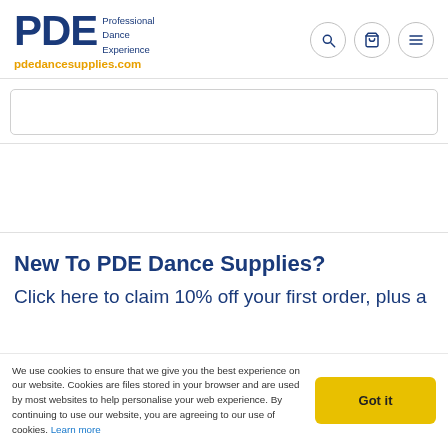PDE Professional Dance Experience — pdedancesupplies.com
New To PDE Dance Supplies?
Click here to claim 10% off your first order, plus a
We use cookies to ensure that we give you the best experience on our website. Cookies are files stored in your browser and are used by most websites to help personalise your web experience. By continuing to use our website, you are agreeing to our use of cookies. Learn more